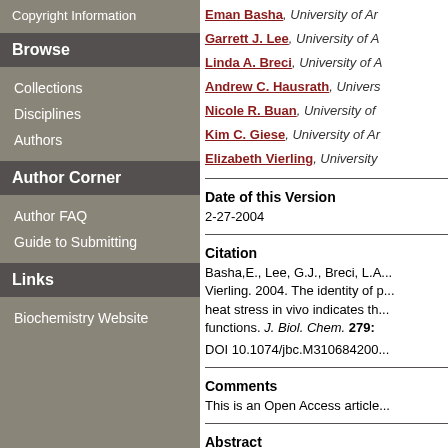Copyright Information
Browse
Collections
Disciplines
Authors
Author Corner
Author FAQ
Guide to Submitting
Links
Biochemistry Website
Eman Basha, University of Ar...; Garrett J. Lee, University of A...; Linda A. Breci, University of A...; Andrew C. Hausrath, Univers...; Nicole R. Buan, University of ...; Kim C. Giese, University of Ar...; Elizabeth Vierling, University ...
Date of this Version
2-27-2004
Citation
Basha,E., Lee, G.J., Breci, L.A... Vierling. 2004. The identity of p... heat stress in vivo indicates th... functions. J. Biol. Chem. 279:...
DOI 10.1074/jbc.M310684200...
Comments
This is an Open Access article...
Abstract
The small heat shock proteins...